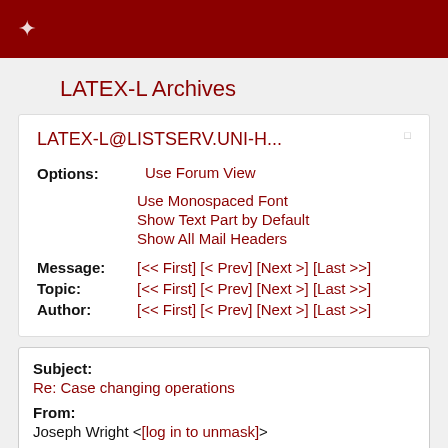LATEX-L Archives
LATEX-L Archives
LATEX-L@LISTSERV.UNI-H...
Options: Use Forum View
Use Monospaced Font
Show Text Part by Default
Show All Mail Headers
Message: [<< First] [< Prev] [Next >] [Last >>]
Topic: [<< First] [< Prev] [Next >] [Last >>]
Author: [<< First] [< Prev] [Next >] [Last >>]
Subject:
Re: Case changing operations
From:
Joseph Wright <[log in to unmask]>